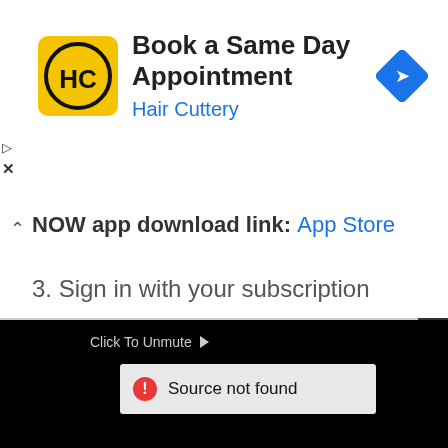[Figure (screenshot): Hair Cuttery ad banner with logo and navigation icon. Text: Book a Same Day Appointment / Hair Cuttery]
NOW app download link: App Store
3. Sign in with your subscription
[Figure (screenshot): Black video player panel showing 'Click To Unmute' text with cursor icon and an error dialog box reading 'Source not found' with a red warning icon]